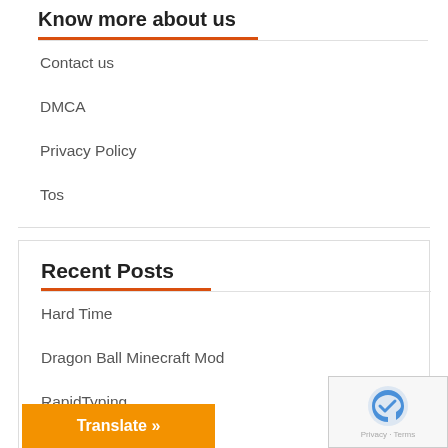Know more about us
Contact us
DMCA
Privacy Policy
Tos
Recent Posts
Hard Time
Dragon Ball Minecraft Mod
RapidTyping
eM Client
Translate »